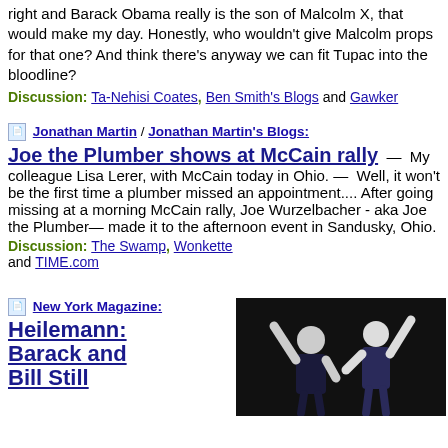right and Barack Obama really is the son of Malcolm X, that would make my day.  Honestly, who wouldn't give Malcolm props for that one?  And think there's anyway we can fit Tupac into the bloodline?
Discussion:  Ta-Nehisi Coates, Ben Smith's Blogs and Gawker
Jonathan Martin / Jonathan Martin's Blogs: Joe the Plumber shows at McCain rally — My colleague Lisa Lerer, with McCain today in Ohio. — Well, it won't be the first time a plumber missed an appointment.... After going missing at a morning McCain rally, Joe Wurzelbacher - aka Joe the Plumber— made it to the afternoon event in Sandusky, Ohio. Discussion: The Swamp, Wonkette and TIME.com
New York Magazine: Heilemann: Barack and Bill Still
[Figure (photo): Two men in suits raising their arms at a rally, photographed against a dark background]